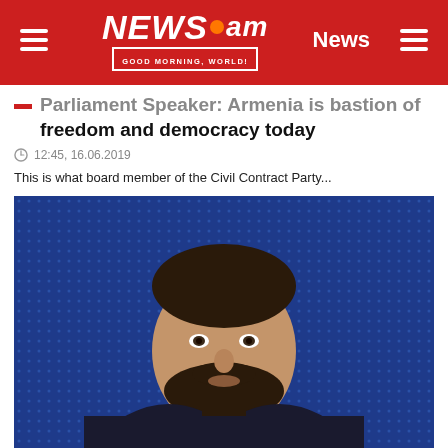NEWS.am — News
Parliament Speaker: Armenia is bastion of freedom and democracy today
12:45, 16.06.2019
This is what board member of the Civil Contract Party...
[Figure (photo): A man with a beard and short dark hair, shown from shoulders up, speaking at what appears to be a conference. Blue dotted/grid background behind him. He is wearing a dark suit.]